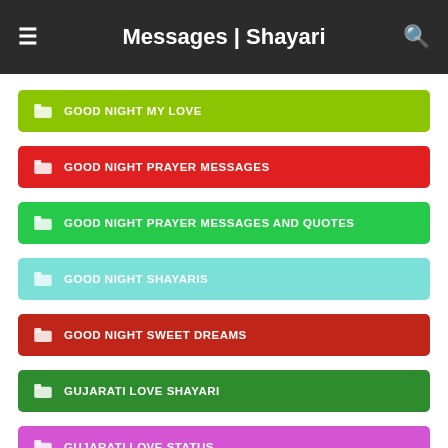Messages | Shayari
GOOD NIGHT MY LOVE
GOOD NIGHT PRAYER MESSAGES
GOOD NIGHT PRAYER MESSAGES AND QUOTES
GOOD NIGHT SHAYARIS
GOOD NIGHT SWEET DREAMS
GUJARATI LOVE SHAYARI
GUJARATI LOVE STATUS